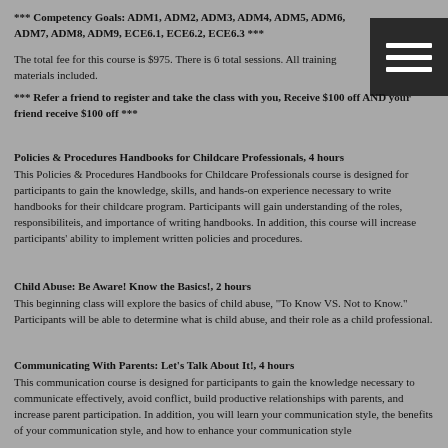*** Competency Goals: ADM1, ADM2, ADM3, ADM4, ADM5, ADM6, ADM7, ADM8, ADM9, ECE6.1, ECE6.2, ECE6.3 ***
The total fee for this course is $975. There is 6 total sessions. All training materials included.
*** Refer a friend to register and take the class with you, Receive $100 off AND your friend receive $100 off ***
Policies & Procedures Handbooks for Childcare Professionals, 4 hours
This Policies & Procedures Handbooks for Childcare Professionals course is designed for participants to gain the knowledge, skills, and hands-on experience necessary to write handbooks for their childcare program. Participants will gain understanding of the roles, responsibiliteis, and importance of writing handbooks. In addition, this course will increase participants' ability to implement written policies and procedures.
Child Abuse: Be Aware! Know the Basics!, 2 hours
This beginning class will explore the basics of child abuse, "To Know VS. Not to Know." Participants will be able to determine what is child abuse, and their role as a child professional.
Communicating With Parents: Let's Talk About It!, 4 hours
This communication course is designed for participants to gain the knowledge necessary to communicate effectively, avoid conflict, build productive relationships with parents, and increase parent participation. In addition, you will learn your communication style, the benefits of your communication style, and how to enhance your communication style